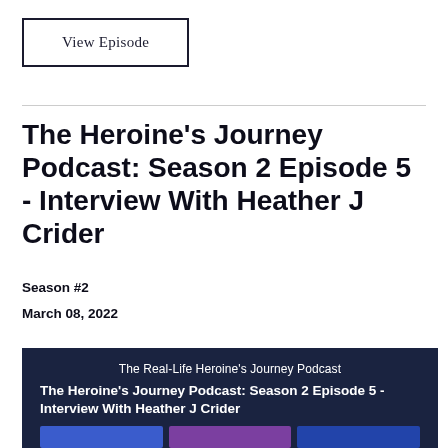View Episode
The Heroine's Journey Podcast: Season 2 Episode 5 - Interview With Heather J Crider
Season #2
March 08, 2022
The Real-Life Heroine's Journey Podcast
The Heroine's Journey Podcast: Season 2 Episode 5 - Interview With Heather J Crider